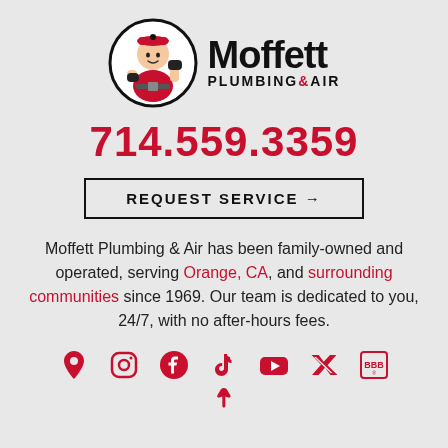[Figure (logo): Moffett Plumbing & Air logo with cartoon plumber mascot in red uniform inside a circle, next to the brand name Moffett PLUMBING & AIR in bold text]
714.559.3359
REQUEST SERVICE →
Moffett Plumbing & Air has been family-owned and operated, serving Orange, CA, and surrounding communities since 1969. Our team is dedicated to you, 24/7, with no after-hours fees.
[Figure (infographic): Social media icons row: Google Maps pin, Instagram, Facebook, TikTok, YouTube, Twitter/X, BBB logo, and partial Yelp icon at bottom]